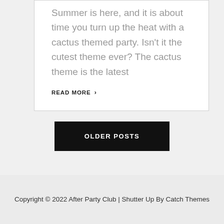Summer is here, and it is about time you turn up the heat with a cactus themed party. Isn't it the cutest theme ever? The cactus theme is the latest
READ MORE >
OLDER POSTS
Copyright © 2022 After Party Club | Shutter Up By Catch Themes